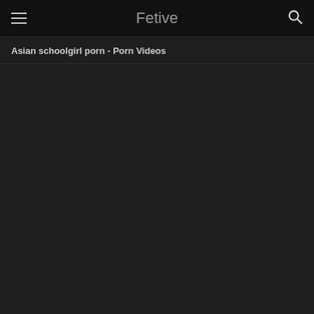Fetive
Asian schoolgirl porn - Porn Videos